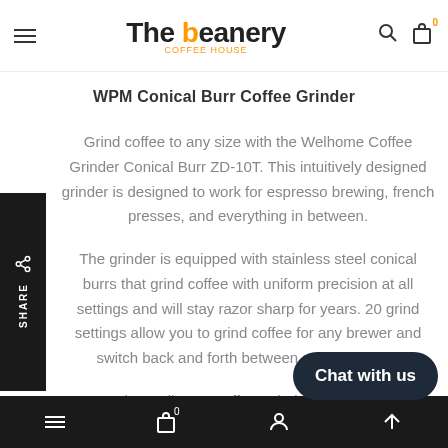The beanery Coffee House — navigation header with hamburger menu, logo, search and bag icons
WPM Conical Burr Coffee Grinder
Grind coffee to any size with the Welhome Coffee Grinder Conical Burr ZD-10T. This intuitively designed grinder is designed to work for espresso brewing, french presses, and everything in between.
The grinder is equipped with stainless steel conical burrs that grind coffee with uniform precision at all settings and will stay razor sharp for years. 20 grind settings allow you to grind coffee for any brewer and switch back and forth between settings easily.
The Welhome Coffee Grinder ZD-10T is t…ring
Bottom navigation bar with hamburger, bag (0), person, and up-arrow icons